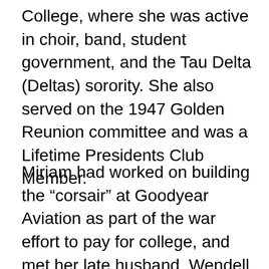College, where she was active in choir, band, student government, and the Tau Delta (Deltas) sorority. She also served on the 1947 Golden Reunion committee and was a Lifetime Presidents Club Member.
Miriam had worked on building the “corsair” at Goodyear Aviation as part of the war effort to pay for college, and met her late husband, Wendell ’48, at Otterbein after his military service. They shared everything, even including the same birthday year/date